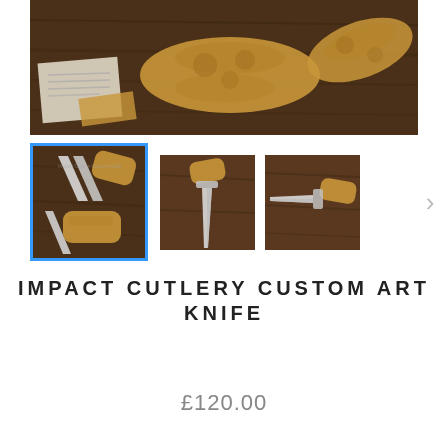[Figure (photo): Main product photo showing carved wooden knife handles with decorative engraving on a dark wooden surface, with a paper card visible]
[Figure (photo): Thumbnail 1 (selected, blue border): Two knives with wooden handles on dark surface]
[Figure (photo): Thumbnail 2: Single knife with wooden handle on dark surface, blade pointing down]
[Figure (photo): Thumbnail 3: Single knife with wooden handle on dark surface, blade pointing left]
IMPACT CUTLERY CUSTOM ART KNIFE
£120.00